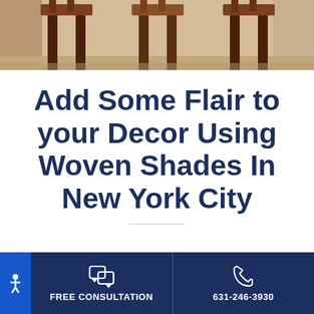[Figure (photo): Top portion of a room interior showing wooden bar stools or chairs with dark brown wooden legs against a light beige/tan background, likely a rug or floor]
Add Some Flair to your Decor Using Woven Shades In New York City
When you dress your windows with woven shades
FREE CONSULTATION
631-246-3930